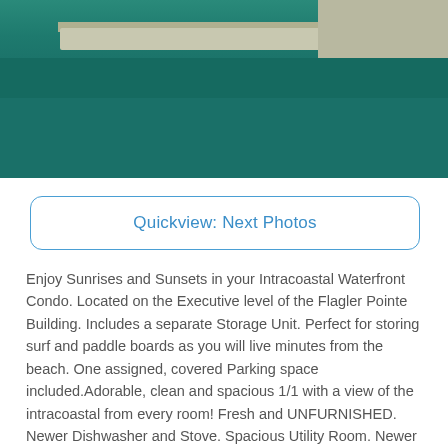[Figure (photo): Aerial view of intracoastal waterway with teal-green water, a road/seawall strip, and parking area visible in the upper right corner]
Quickview: Next Photos
Enjoy Sunrises and Sunsets in your Intracoastal Waterfront Condo. Located on the Executive level of the Flagler Pointe Building. Includes a separate Storage Unit. Perfect for storing surf and paddle boards as you will live minutes from the beach. One assigned, covered Parking space included.Adorable, clean and spacious 1/1 with a view of the intracoastal from every room! Fresh and UNFURNISHED. Newer Dishwasher and Stove. Spacious Utility Room. Newer Bedroom flooring. Minutes from Downtown West Palm Beach, Palm Beach Island, Local Restaurants, Shopping. Resort Style Amenities. 24 hour Concierge. 24/7 Security on site. Olympic style pool. Fitness center, Cabana, Spa, Sauna, Bike storage, Manager on site. 5 Miles from PBIA